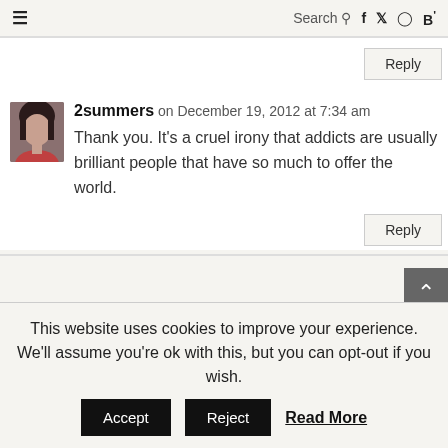≡   Search 🔍   f   𝕏   ⊙   B'
Reply
2summers on December 19, 2012 at 7:34 am
Thank you. It's a cruel irony that addicts are usually brilliant people that have so much to offer the world.
Reply
This website uses cookies to improve your experience. We'll assume you're ok with this, but you can opt-out if you wish.
Accept   Reject   Read More